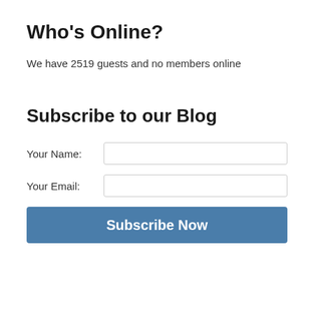Who's Online?
We have 2519 guests and no members online
Subscribe to our Blog
Your Name:
Your Email:
Subscribe Now